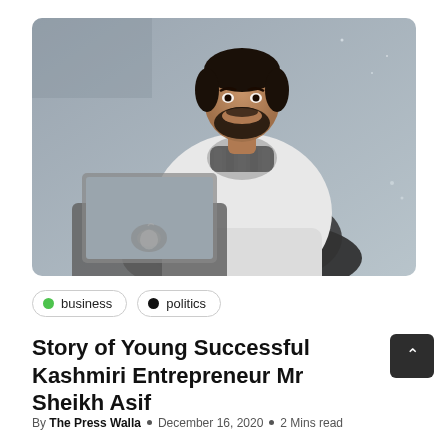[Figure (photo): Young man with beard wearing a white hoodie and patterned scarf/collar, sitting in front of an open Apple MacBook laptop, against a grey wall background.]
business   politics
Story of Young Successful Kashmiri Entrepreneur Mr Sheikh Asif
By The Press Walla  o  December 16, 2020  o  2 Mins read